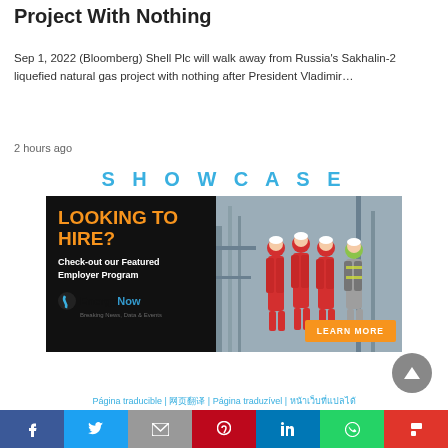Project With Nothing
Sep 1, 2022 (Bloomberg) Shell Plc will walk away from Russia's Sakhalin-2 liquefied natural gas project with nothing after President Vladimir…
2 hours ago
SHOWCASE
[Figure (photo): Advertisement banner for EnergyNow Featured Employer Program. Left side: dark background with orange text 'LOOKING TO HIRE?' followed by 'Check-out our Featured Employer Program' and the EnergyNow logo. Right side: photo of workers in red coveralls and safety gear at an industrial site, with an orange 'LEARN MORE' button.]
Página traducible | 网页翻译 | Página traduzível | หน้าเว็บที่แปลได้
[Figure (infographic): Social sharing bar with icons: Facebook (blue), Twitter (light blue), Email (grey), Pinterest (red), LinkedIn (blue), WhatsApp (green), Flipboard (red)]